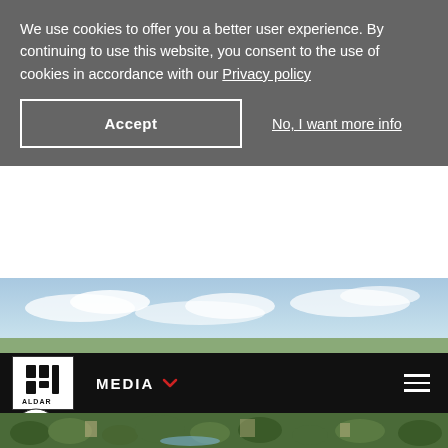We use cookies to offer you a better user experience. By continuing to use this website, you consent to the use of cookies in accordance with our Privacy policy
Accept
No, I want more info
[Figure (photo): Aerial photograph of a city/suburban area with sky and clouds visible in a horizontal strip]
[Figure (logo): Aldar Properties logo - white Arabic and English text/symbol on black background]
MEDIA
[Figure (photo): Aerial photograph of green suburban landscape with trees and buildings at bottom of page]